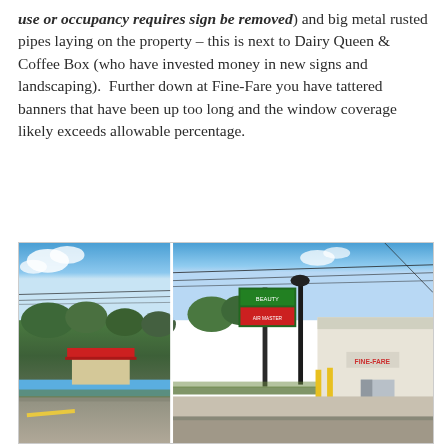use or occupancy requires sign be removed) and big metal rusted pipes laying on the property – this is next to Dairy Queen & Coffee Box (who have invested money in new signs and landscaping).  Further down at Fine-Fare you have tattered banners that have been up too long and the window coverage likely exceeds allowable percentage.
[Figure (photo): Two side-by-side street-level photographs. Left photo shows a street view with trees and a commercial building with a red awning (appears to be Dairy Queen area) under a blue sky. Right photo shows a commercial strip with a sign post, a white building with 'Fine-Fare' signage, construction fencing, and overhead utility wires against a blue sky.]